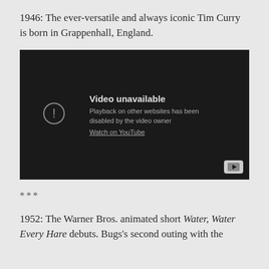1946: The ever-versatile and always iconic Tim Curry is born in Grappenhall, England.
[Figure (screenshot): Embedded video player showing 'Video unavailable' message. Text reads: 'Playback on other websites has been disabled by the video owner. Watch on YouTube.' YouTube logo button visible in bottom right corner.]
***
1952: The Warner Bros. animated short Water, Water Every Hare debuts. Bugs's second outing with the